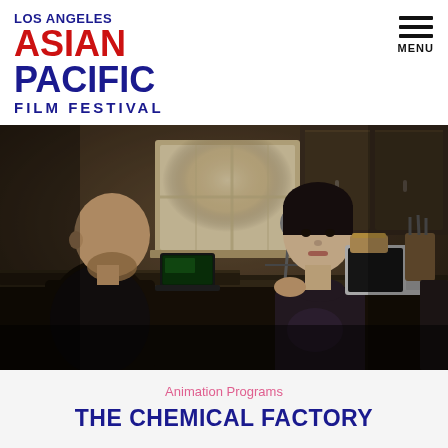[Figure (logo): Los Angeles Asian Pacific Film Festival logo with red ASIAN and blue LOS ANGELES, PACIFIC, FILM FESTIVAL text]
MENU
[Figure (photo): Animated 3D rendered scene showing two characters in a kitchen: a bald man sitting on the left side of a counter with a laptop, and a woman with short dark hair in a turtleneck on the right side. Warm moody lighting with window in background.]
Animation Programs
THE CHEMICAL FACTORY